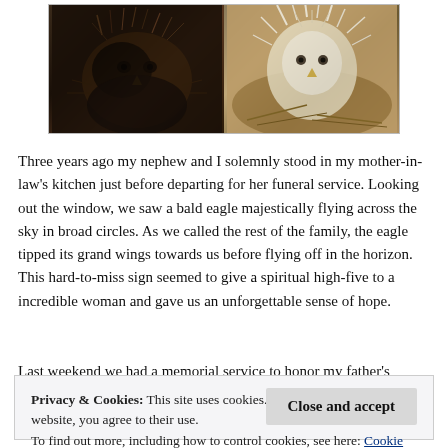[Figure (photo): Two close-up photos side by side showing young birds (possibly eagles) with fluffy feathers, in a nest or similar setting. Left photo shows a darker bird, right photo shows lighter fluffy feathers.]
Three years ago my nephew and I solemnly stood in my mother-in-law's kitchen just before departing for her funeral service. Looking out the window, we saw a bald eagle majestically flying across the sky in broad circles. As we called the rest of the family, the eagle tipped its grand wings towards us before flying off in the horizon. This hard-to-miss sign seemed to give a spiritual high-five to a incredible woman and gave us an unforgettable sense of hope.
Last weekend we had a memorial service to honor my father's
Privacy & Cookies: This site uses cookies. By continuing to use this website, you agree to their use.
To find out more, including how to control cookies, see here: Cookie Policy
Close and accept